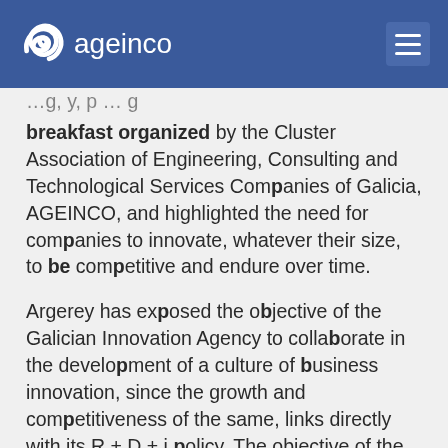ageinco
breakfast organized by the Cluster Association of Engineering, Consulting and Technological Services Companies of Galicia, AGEINCO, and highlighted the need for companies to innovate, whatever their size, to be competitive and endure over time.
Argerey has exposed the objective of the Galician Innovation Agency to collaborate in the development of a culture of business innovation, since the growth and competitiveness of the same, links directly with its R + D + i policy. The objective of the Agency is Galician SMEs, a very relevant part of the entire business fabric of